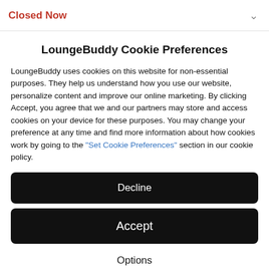Closed Now
LoungeBuddy Cookie Preferences
LoungeBuddy uses cookies on this website for non-essential purposes. They help us understand how you use our website, personalize content and improve our online marketing. By clicking Accept, you agree that we and our partners may store and access cookies on your device for these purposes. You may change your preference at any time and find more information about how cookies work by going to the "Set Cookie Preferences" section in our cookie policy.
Decline
Accept
Options